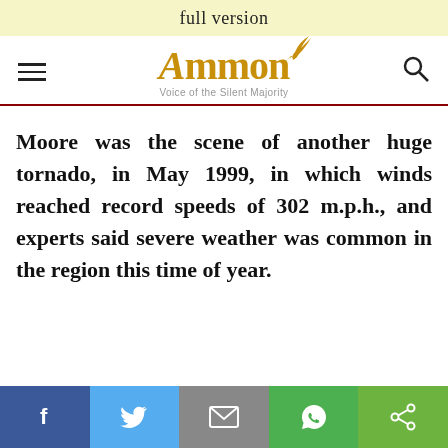full version
[Figure (logo): Ammon news logo with tagline 'Voice of the Silent Majority' and a bird graphic, flanked by a hamburger menu icon on the left and a search icon on the right]
Moore was the scene of another huge tornado, in May 1999, in which winds reached record speeds of 302 m.p.h., and experts said severe weather was common in the region this time of year.